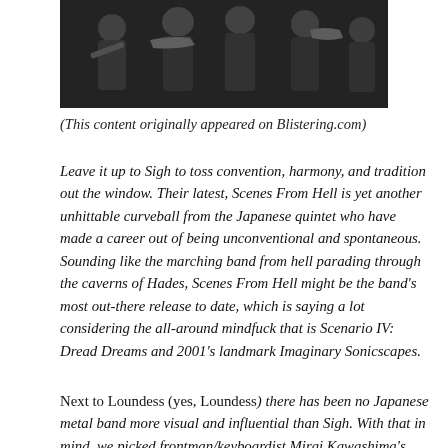[Figure (photo): Black and white photo of musicians/band members holding instruments including trumpet and other instruments, performing or posing together]
(This content originally appeared on Blistering.com)
Leave it up to Sigh to toss convention, harmony, and tradition out the window. Their latest, Scenes From Hell is yet another unhittable curveball from the Japanese quintet who have made a career out of being unconventional and spontaneous. Sounding like the marching band from hell parading through the caverns of Hades, Scenes From Hell might be the band's most out-there release to date, which is saying a lot considering the all-around mindfuck that is Scenario IV: Dread Dreams and 2001's landmark Imaginary Sonicscapes.
Next to Loundess (yes, Loundess) there has been no Japanese metal band more visual and influential than Sigh. With that in mind, we picked frontman/keyboardist Mirai Kawashima's brain on a